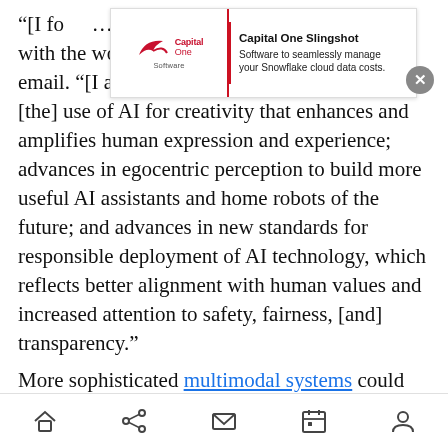“[I fo… s, includ… ory interaction with the world,” Pineau told VentureBeat via email. “[I also expect] new work embracing [the] use of AI for creativity that enhances and amplifies human expression and experience; advances in egocentric perception to build more useful AI assistants and home robots of the future; and advances in new standards for responsible deployment of AI technology, which reflects better alignment with human values and increased attention to safety, fairness, [and] transparency.”
[Figure (other): Capital One Software / Capital One Slingshot advertisement banner: 'Software to seamlessly manage your Snowflake cloud data costs.' with a close (X) button.]
More sophisticated multimodal systems could improve the quality of AI…
Home | Share | Mail | Calendar | Profile (navigation icons)